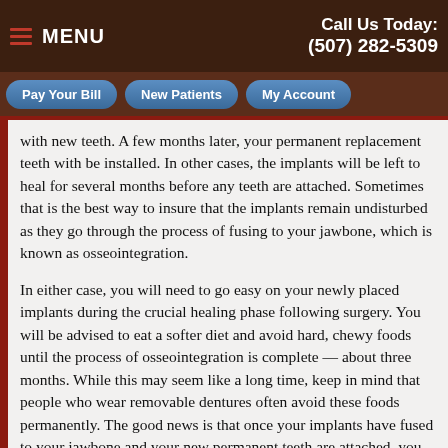MENU   Call Us Today: (507) 282-5309
Pay Your Bill   New Patients   My Account
with new teeth. A few months later, your permanent replacement teeth with be installed. In other cases, the implants will be left to heal for several months before any teeth are attached. Sometimes that is the best way to insure that the implants remain undisturbed as they go through the process of fusing to your jawbone, which is known as osseointegration.
In either case, you will need to go easy on your newly placed implants during the crucial healing phase following surgery. You will be advised to eat a softer diet and avoid hard, chewy foods until the process of osseointegration is complete — about three months. While this may seem like a long time, keep in mind that people who wear removable dentures often avoid these foods permanently. The good news is that once your implants have fused to your jawbone and your new permanent teeth are attached, you will be able to eat